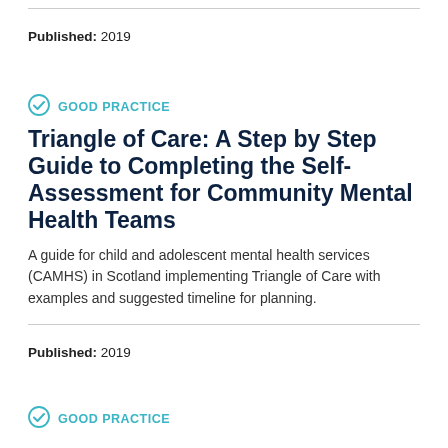Published: 2019
GOOD PRACTICE
Triangle of Care: A Step by Step Guide to Completing the Self-Assessment for Community Mental Health Teams
A guide for child and adolescent mental health services (CAMHS) in Scotland implementing Triangle of Care with examples and suggested timeline for planning.
Published: 2019
GOOD PRACTICE